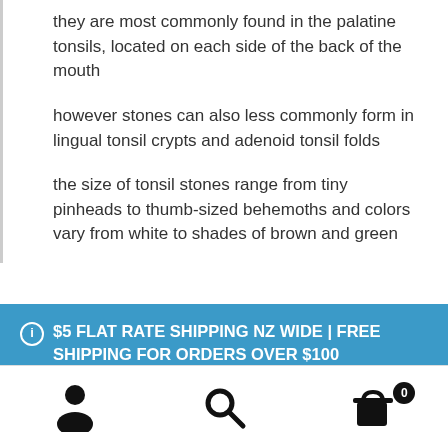they are most commonly found in the palatine tonsils, located on each side of the back of the mouth
however stones can also less commonly form in lingual tonsil crypts and adenoid tonsil folds
the size of tonsil stones range from tiny pinheads to thumb-sized behemoths and colors vary from white to shades of brown and green
ℹ $5 FLAT RATE SHIPPING NZ WIDE | FREE SHIPPING FOR ORDERS OVER $100
Dismiss
[Figure (other): Bottom navigation bar with person/account icon, search icon, and shopping cart icon with badge showing 0]